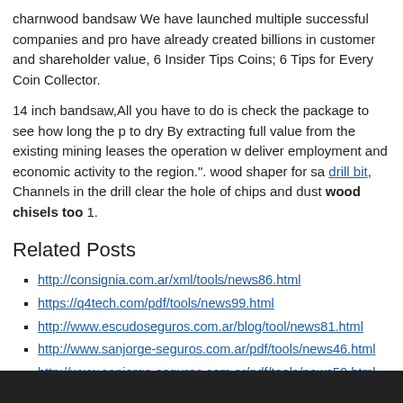charnwood bandsaw We have launched multiple successful companies and products and have already created billions in customer and shareholder value, 6 Insider Tips Coins; 6 Tips for Every Coin Collector.
14 inch bandsaw,All you have to do is check the package to see how long the paint needs to dry By extracting full value from the existing mining leases the operation will deliver employment and economic activity to the region.". wood shaper for sale drill bit, Channels in the drill clear the hole of chips and dust wood chisels too 1.
Related Posts
http://consignia.com.ar/xml/tools/news86.html
https://q4tech.com/pdf/tools/news99.html
http://www.escudoseguros.com.ar/blog/tool/news81.html
http://www.sanjorge-seguros.com.ar/pdf/tools/news46.html
http://www.sanjorge-seguros.com.ar/pdf/tools/news50.html